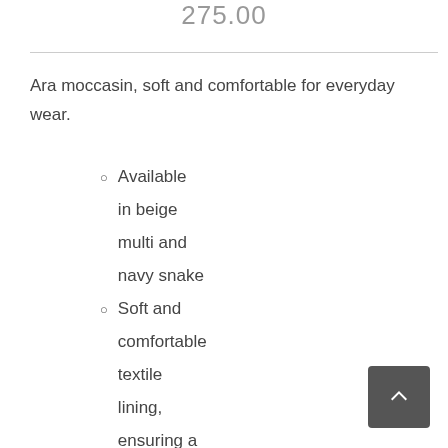275.00
Ara moccasin, soft and comfortable for everyday wear.
Available in beige multi and navy snake
Soft and comfortable textile lining, ensuring a perfect inner climate